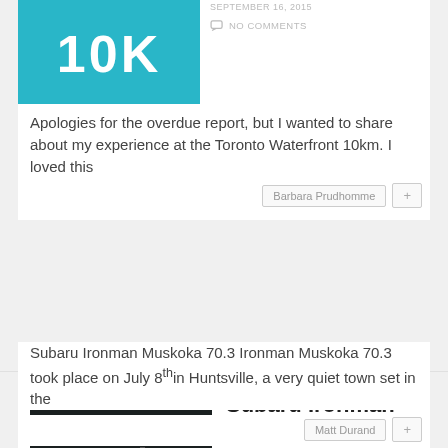[Figure (photo): Teal/blue banner image with bold white text '10K']
NO COMMENTS
Apologies for the overdue report, but I wanted to share about my experience at the Toronto Waterfront 10km. I loved this
Barbara Prudhomme
[Figure (photo): Photo of Subaru Ironman Muskoka finish line area with red carpet and crowd of people]
Subaru Ironman Muskoka 70.3
Race reports
Triathlon
JULY 18, 2018
NO COMMENTS
Subaru Ironman Muskoka 70.3 Ironman Muskoka 70.3 took place on July 8th in Huntsville, a very quiet town set in the
Matt Durand